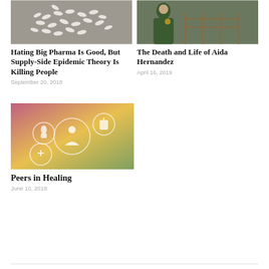[Figure (photo): Overhead view of white pills arranged in the shape of the United States map on a gray surface]
Hating Big Pharma Is Good, But Supply-Side Epidemic Theory Is Killing People
September 20, 2018
[Figure (photo): Person wearing a green jacket standing outdoors near a railing]
The Death and Life of Aida Hernandez
April 16, 2019
[Figure (photo): Healthcare-themed image with pink and yellow gradient background showing circular icons representing people and medical symbols]
Peers in Healing
June 10, 2019